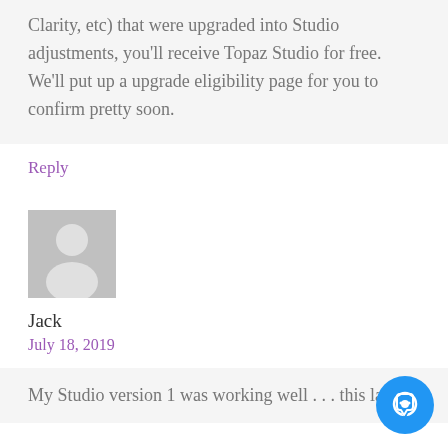Clarity, etc) that were upgraded into Studio adjustments, you'll receive Topaz Studio for free. We'll put up a upgrade eligibility page for you to confirm pretty soon.
Reply
[Figure (illustration): Generic user avatar icon — grey square with white silhouette of a person]
Jack
July 18, 2019
My Studio version 1 was working well . . . this layer-